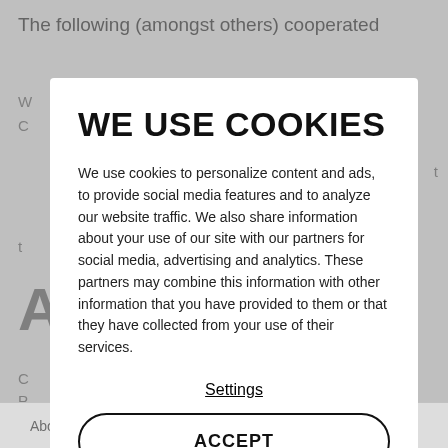The following (amongst others) cooperated
WE USE COOKIES
We use cookies to personalize content and ads, to provide social media features and to analyze our website traffic. We also share information about your use of our site with our partners for social media, advertising and analytics. These partners may combine this information with other information that you have provided to them or that they have collected from your use of their services.
Settings
ACCEPT
About us   KDJ   Our work